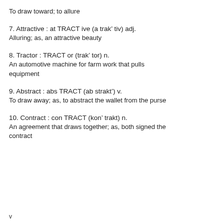To draw toward; to allure
7. Attractive : at TRACT ive (a trak' tiv) adj.
Alluring; as, an attractive beauty
8. Tractor : TRACT or (trak' tor) n.
An automotive machine for farm work that pulls equipment
9. Abstract : abs TRACT (ab strakt') v.
To draw away; as, to abstract the wallet from the purse
10. Contract : con TRACT (kon' trakt) n.
An agreement that draws together; as, both signed the contract
v